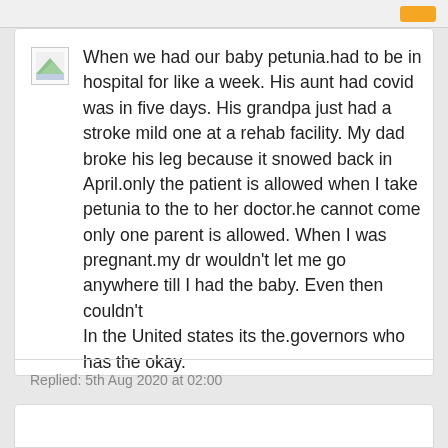When we had our baby petunia.had to be in hospital for like a week. His aunt had covid was in five days. His grandpa just had a stroke mild one at a rehab facility. My dad broke his leg because it snowed back in April.only the patient is allowed when I take petunia to the to her doctor.he cannot come only one parent is allowed. When I was pregnant.my dr wouldn't let me go anywhere till I had the baby. Even then couldn't
In the United states its the.governors who has the okay.
Replied: 5th Aug 2020 at 02:00